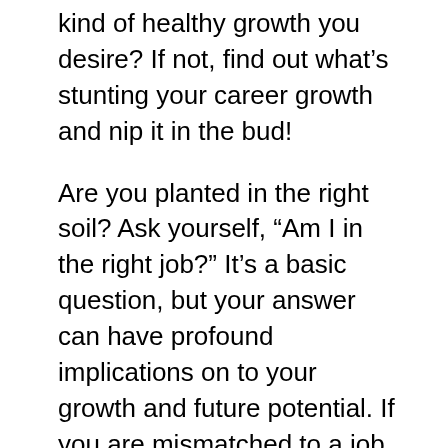kind of healthy growth you desire? If not, find out what's stunting your career growth and nip it in the bud!
Are you planted in the right soil? Ask yourself, "Am I in the right job?" It's a basic question, but your answer can have profound implications on to your growth and future potential. If you are mismatched to a job that is making you miserable, you are not going to flourish. For this reason, it's important to periodically assess your job satisfaction and professional goals to ensure you are in a place where you can thrive. The Bureau of Labor Statistics (BLS)